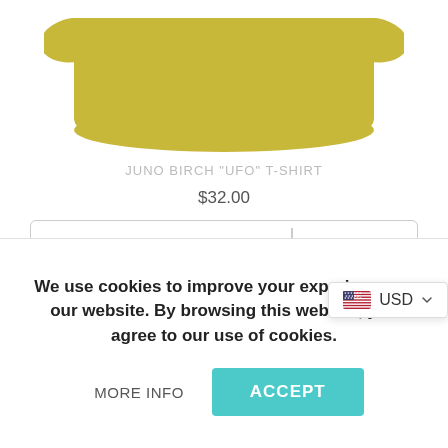[Figure (photo): Partial view of a yellow/daisy colored t-shirt, cropped at the bottom hem, shown against white background]
JUNO BIRCH "UFO" T-SHIRT
$32.00
Daisy / Unisex / 2XL
USD
Add to Cart
We use cookies to improve your experience on our website. By browsing this website, you agree to our use of cookies.
MORE INFO
ACCEPT